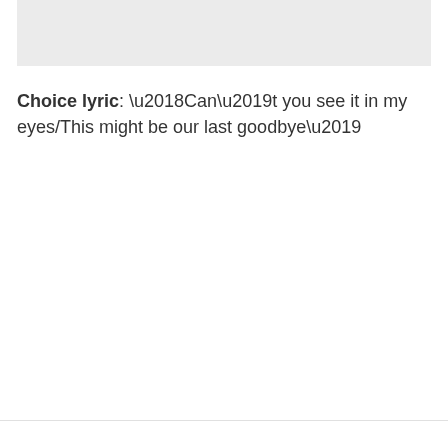[Figure (other): Partial image shown at top of page, light gray background placeholder]
Choice lyric: ‘Can’t you see it in my eyes/This might be our last goodbye’